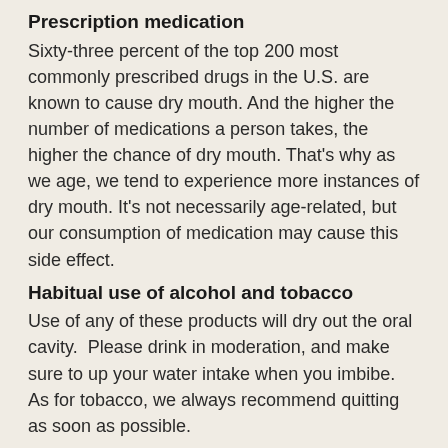Prescription medication
Sixty-three percent of the top 200 most commonly prescribed drugs in the U.S. are known to cause dry mouth. And the higher the number of medications a person takes, the higher the chance of dry mouth. That's why as we age, we tend to experience more instances of dry mouth. It's not necessarily age-related, but our consumption of medication may cause this side effect.
Habitual use of alcohol and tobacco
Use of any of these products will dry out the oral cavity.  Please drink in moderation, and make sure to up your water intake when you imbibe. As for tobacco, we always recommend quitting as soon as possible.
Chronic Disease
Diabetes, Sjogren's disease, Sarcoidosis, Hepatitis C